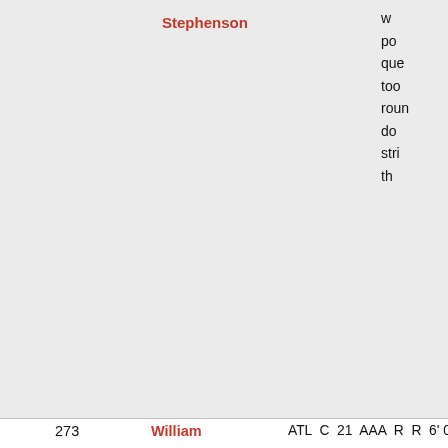| # | Name | Team | Pos | Age | Lvl | Bat | Thr | Ht | Wt | Notes |
| --- | --- | --- | --- | --- | --- | --- | --- | --- | --- | --- |
|  | Stephenson |  |  |  |  |  |  |  |  | w... po... que... too... roun... dc... stri... th... |
| 273 | William Contreras | ATL | C | 21 | AAA | R | R | 6' 0" | 180 | Aver... abilit... for a... bu... able... av... you... hig... stay... |
| 274 | Diego Cartaya | LAD | C | 18 | RK | R | R | 6' 2" | 199 | Disp... hit a... |